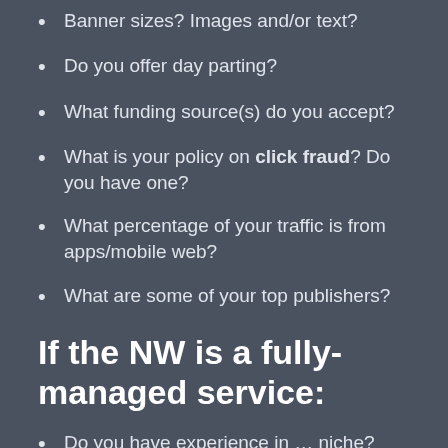Banner sizes? Images and/or text?
Do you offer day parting?
What funding source(s) do you accept?
What is your policy on click fraud? Do you have one?
What percentage of your traffic is from apps/mobile web?
What are some of your top publishers?
If the NW is a fully-managed service:
Do you have experience in … niche?
What similar advertisers have you managed in